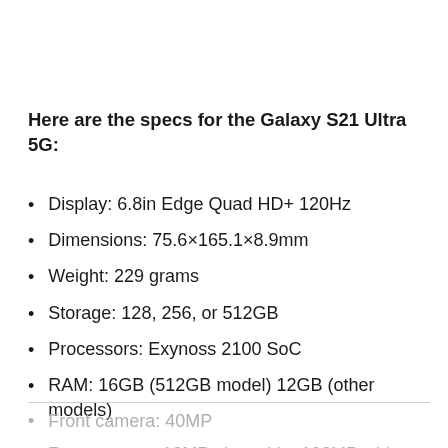Here are the specs for the Galaxy S21 Ultra 5G:
Display: 6.8in Edge Quad HD+ 120Hz
Dimensions: 75.6×165.1×8.9mm
Weight: 229 grams
Storage: 128, 256, or 512GB
Processors: Exynoss 2100 SoC
RAM: 16GB (512GB model) 12GB (other models)
Front camera: 40MP
Rear camera: 12MP ultra wide, 108MP wide